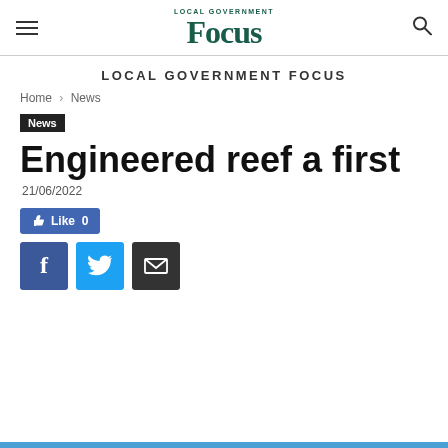LOCAL GOVERNMENT Focus
LOCAL GOVERNMENT FOCUS
Home › News
News
Engineered reef a first
21/06/2022
Like 0
[Figure (infographic): Social share buttons: Facebook (f), Twitter (bird icon), Email (envelope icon)]